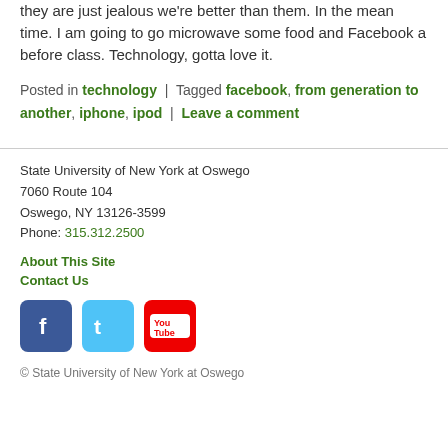they are just jealous we're better than them. In the mean time. I am going to go microwave some food and Facebook a before class. Technology, gotta love it.
Posted in technology | Tagged facebook, from generation to another, iphone, ipod | Leave a comment
State University of New York at Oswego
7060 Route 104
Oswego, NY 13126-3599
Phone: 315.312.2500

About This Site
Contact Us

© State University of New York at Oswego